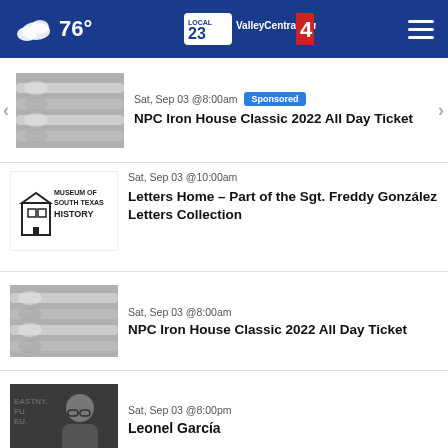76° ValleyCentral.com Local 23/4
Sat, Sep 03 @8:00am [Sponsored] NPC Iron House Classic 2022 All Day Ticket
Sat, Sep 03 @10:00am Letters Home – Part of the Sgt. Freddy González Letters Collection
Sat, Sep 03 @8:00am NPC Iron House Classic 2022 All Day Ticket
Sat, Sep 03 @8:00pm Leonel García
Sat, Sep 03 @6:00pm